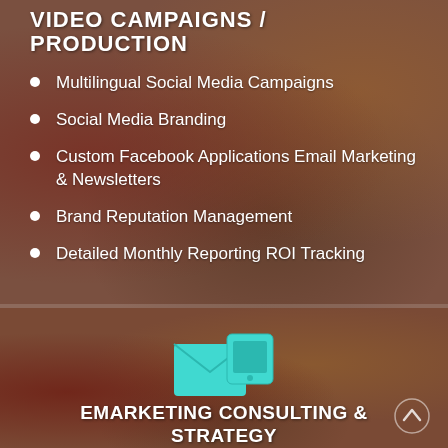VIDEO CAMPAIGNS / PRODUCTION
Multilingual Social Media Campaigns
Social Media Branding
Custom Facebook Applications Email Marketing & Newsletters
Brand Reputation Management
Detailed Monthly Reporting ROI Tracking
[Figure (illustration): Teal/cyan icon showing an envelope (email) with a mobile phone, representing emarketing]
EMARKETING CONSULTING & STRATEGY